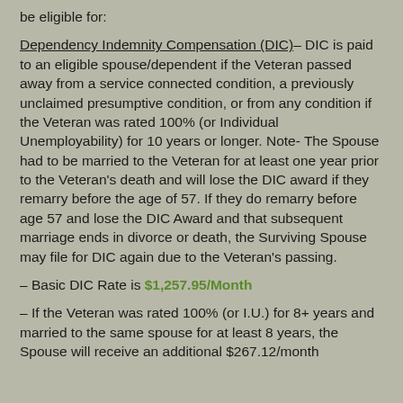be eligible for:
Dependency Indemnity Compensation (DIC)– DIC is paid to an eligible spouse/dependent if the Veteran passed away from a service connected condition, a previously unclaimed presumptive condition, or from any condition if the Veteran was rated 100% (or Individual Unemployability) for 10 years or longer. Note- The Spouse had to be married to the Veteran for at least one year prior to the Veteran's death and will lose the DIC award if they remarry before the age of 57. If they do remarry before age 57 and lose the DIC Award and that subsequent marriage ends in divorce or death, the Surviving Spouse may file for DIC again due to the Veteran's passing.
– Basic DIC Rate is $1,257.95/Month
– If the Veteran was rated 100% (or I.U.) for 8+ years and married to the same spouse for at least 8 years, the Spouse will receive an additional $267.12/month